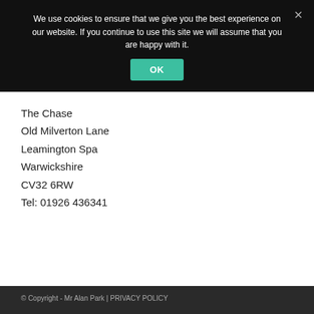We use cookies to ensure that we give you the best experience on our website. If you continue to use this site we will assume that you are happy with it.
OK
The Chase
Old Milverton Lane
Leamington Spa
Warwickshire
CV32 6RW
Tel: 01926 436341
© Copyright - Mr Alan Park | PRIVACY POLICY